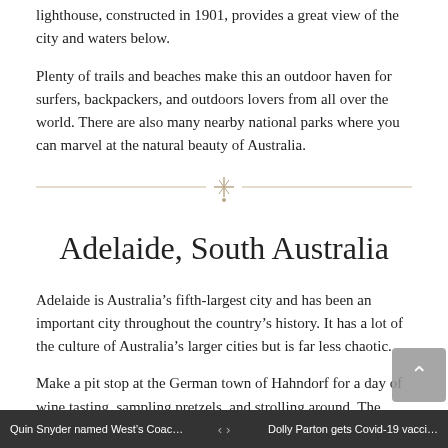lighthouse, constructed in 1901, provides a great view of the city and waters below.
Plenty of trails and beaches make this an outdoor haven for surfers, backpackers, and outdoors lovers from all over the world. There are also many nearby national parks where you can marvel at the natural beauty of Australia.
Adelaide, South Australia
Adelaide is Australia’s fifth-largest city and has been an important city throughout the country’s history. It has a lot of the culture of Australia’s larger cities but is far less chaotic.
Make a pit stop at the German town of Hahndorf for a day of wine tasting, sampling pretzels, and strolling around. The culture of this unique destination is due to the influx of German settlers who arrived here in the mid-1800s.
Quin Snyder named West’s Coac…  <  >  Dolly Parton gets Covid-19 vacci…